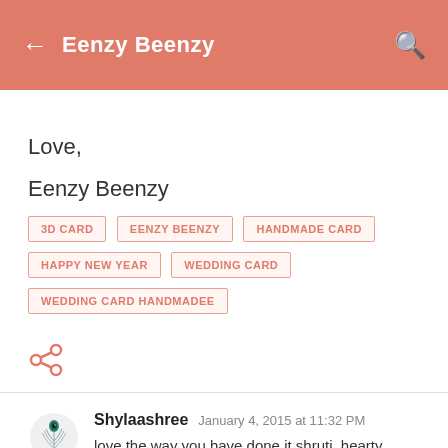Eenzy Beenzy
Love,
Eenzy Beenzy
3D CARD
EENZY BEENZY
HANDMADE CARD
HAPPY NEW YEAR
WEDDING CARD
WEDDING CARD HANDMADEE
[Figure (illustration): Share icon (salmon/orange color)]
Shylaashree January 4, 2015 at 11:32 PM
love the way you have done it shruti. hearty welcome to the team